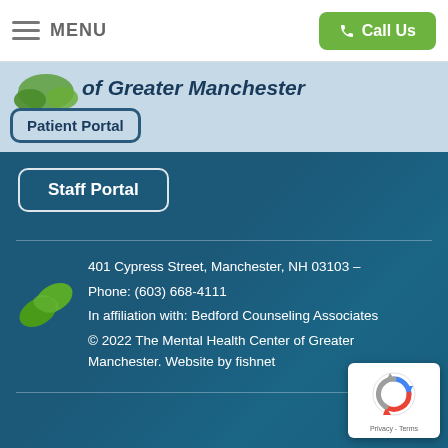≡ MENU
Call Us
of Greater Manchester
Patient Portal
Staff Portal
401 Cypress Street, Manchester, NH 03103 – Phone: (603) 668-4111
In affiliation with: Bedford Counseling Associates
© 2022 The Mental Health Center of Greater Manchester. Website by fishnet
[Figure (logo): reCAPTCHA logo with recycling arrows icon, Privacy and Terms text]